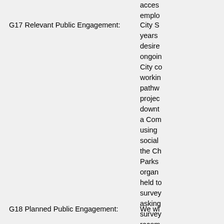access employment
G17 Relevant Public Engagement:
City S years desire ongoin City co workin pathw projec downt a Com using social the Ch Parks organ held t surve askin surve recom comm conne Main S will be conne
G18 Planned Public Engagement:
We wi